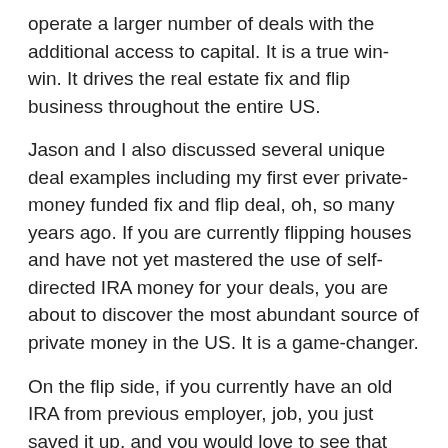operate a larger number of deals with the additional access to capital. It is a true win-win. It drives the real estate fix and flip business throughout the entire US.
Jason and I also discussed several unique deal examples including my first ever private-money funded fix and flip deal, oh, so many years ago. If you are currently flipping houses and have not yet mastered the use of self-directed IRA money for your deals, you are about to discover the most abundant source of private money in the US. It is a game-changer.
On the flip side, if you currently have an old IRA from previous employer, job, you just saved it up, and you would love to see that IRA account produce higher returns or maybe more consistent returns than its currently producing, Jason covers the method that many investors have been using to do just that.
Please note my disclaimer, neither Jason nor myself are providing investment, legal, or tax advice during this